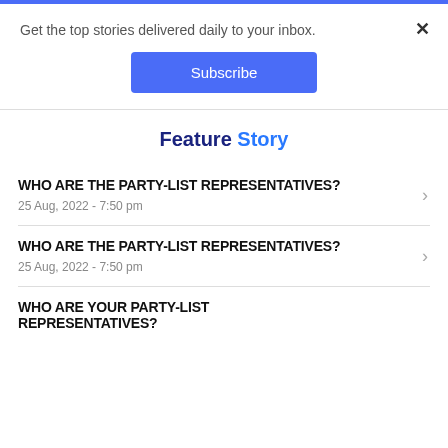Get the top stories delivered daily to your inbox.
Subscribe
Feature Story
WHO ARE THE PARTY-LIST REPRESENTATIVES?
25 Aug, 2022 - 7:50 pm
WHO ARE THE PARTY-LIST REPRESENTATIVES?
25 Aug, 2022 - 7:50 pm
WHO ARE YOUR PARTY-LIST REPRESENTATIVES?